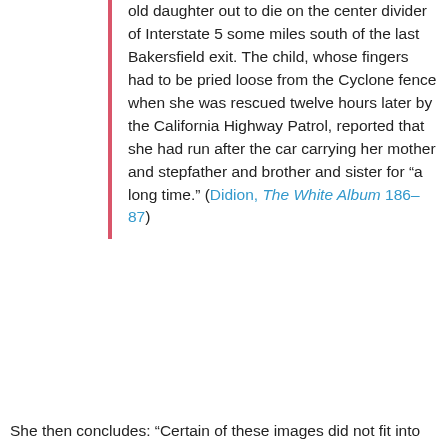old daughter out to die on the center divider of Interstate 5 some miles south of the last Bakersfield exit. The child, whose fingers had to be pried loose from the Cyclone fence when she was rescued twelve hours later by the California Highway Patrol, reported that she had run after the car carrying her mother and stepfather and brother and sister for “a long time.” (Didion, The White Album 186–87)
She then concludes: “Certain of these images did not fit into any narrative I knew” (Didion, The White Album 187). The images are listed consecutively and continuously and are included in the same sentences, and so are juxtaposed while their equivalence is simultaneously underlined. They are presented without hierarchy, and it is suggested that hierarchy is impossible to impose. Even in the description of individual images, detail is included that prevents sense from being made of them: the young woman, we are told, is 26 years old; but her blond hair is “faded.” Didion’s provision of conflicting details prevents the image from achieving full coherence.